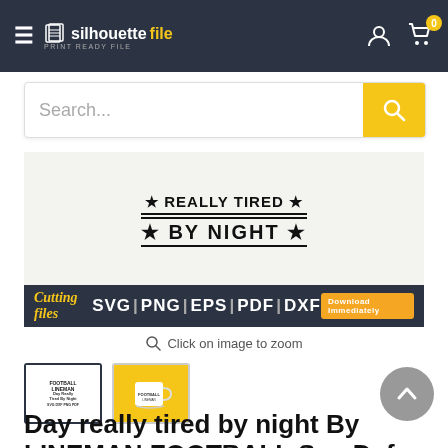silhouettefile — navigation bar with search
[Figure (screenshot): Product image showing 'REALLY TIRED BY NIGHT' text design with star decorations, and a dark banner showing SVG|PNG|EPS|PDF|DXF formats]
Click on image to zoom
[Figure (photo): Two product thumbnails: one showing the SVG design, one showing a mug mockup]
Day really tired by night By LINEMAN FOOTBALL Svg Dxf Png Cut File